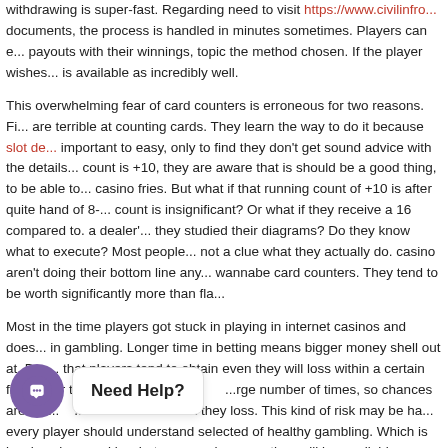withdrawing is super-fast. Regarding need to visit https://www.civilinfro... documents, the process is handled in minutes sometimes. Players can e... payouts with their winnings, topic the method chosen. If the player wishes... is available as incredibly well.
This overwhelming fear of card counters is erroneous for two reasons. Fi... are terrible at counting cards. They learn the way to do it because slot de... important to easy, only to find they don't get sound advice with the details... count is +10, they are aware that is should be a good thing, to be able to... casino fries. But what if that running count of +10 is after quite hand of 8-... count is insignificant? Or what if they receive a 16 compared to. a dealer'... they studied their diagrams? Do they know what to execute? Most people... not a clue what they actually do. casino aren't doing their bottom line any... wannabe card counters. They tend to be worth significantly more than fla...
Most in the time players got stuck in playing in internet casinos and does... in gambling. Longer time in betting means bigger money shell out at. Bus... that players tend to obtain even they will loss within a certain fixture. Or t... l...y b... ...rge number of times, so chances are the... ...or ...ck they loss. This kind of risk may be ha... every player should understand selected of healthy gambling. Which is is... how long and in what way much money they will lay available.
[Figure (other): Chat widget with purple circular icon showing a chat/smile symbol and a white bubble saying 'Need Help?']